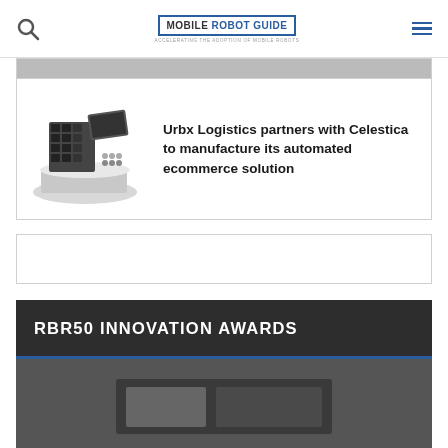MOBILE ROBOT GUIDE - Accelerating the adoption of mobile robots
[Figure (screenshot): Partial grey image strip at top of card]
[Figure (photo): Urbx Logistics automated ecommerce robot hardware on white platform]
Urbx Logistics partners with Celestica to manufacture its automated ecommerce solution
[Figure (other): Empty advertisement card]
RBR50 INNOVATION AWARDS
[Figure (photo): Partial image at bottom for RBR50 Innovation Awards section]